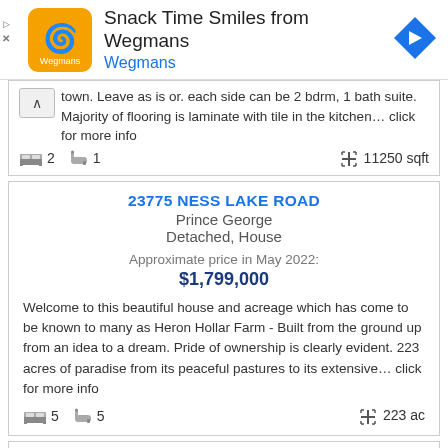[Figure (logo): Wegmans ad banner with logo and navigation icon. Title: Snack Time Smiles from Wegmans. Subtitle: Wegmans]
town. Leave as is or. each side can be 2 bdrm, 1 bath suite. Majority of flooring is laminate with tile in the kitchen... click for more info
2 bedrooms, 1 bath, 11250 sqft
23775 NESS LAKE ROAD
Prince George
Detached, House
Approximate price in May 2022:
$1,799,000
Welcome to this beautiful house and acreage which has come to be known to many as Heron Hollar Farm - Built from the ground up from an idea to a dream. Pride of ownership is clearly evident. 223 acres of paradise from its peaceful pastures to its extensive... click for more info
5 bedrooms, 5 bath, 223 ac
490 S QUINN STREET